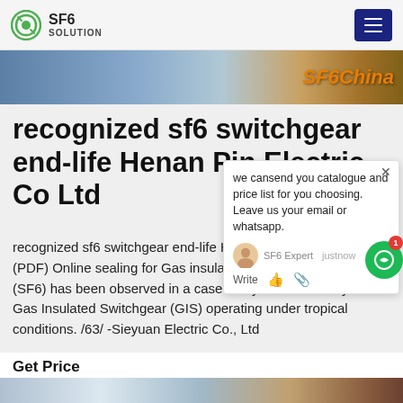SF6 SOLUTION
[Figure (screenshot): Banner image with SF6China text overlay in orange]
recognized sf6 switchgear end-life Henan Pin Electric Co Ltd
recognized sf6 switchgear end-life Henan Pin Electric Co Ltd (PDF) Online sealing for Gas insulatedHumid insulating gas (SF6) has been observed in a case study of 631 CB-bays of Gas Insulated Switchgear (GIS) operating under tropical conditions. /63/ -Sieyuan Electric Co., Ltd
[Figure (screenshot): Chat popup overlay saying: we can send you catalogue and price list for you choosing. Leave us your email or whatsapp. SF6 Expert justnow Write]
Get Price
[Figure (photo): Bottom strip showing electrical equipment/switchgear outdoor installation]